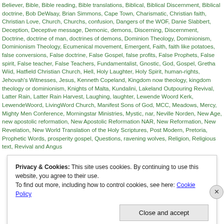Believer, Bible, Bible reading, Bible translations, Biblical, Biblical Discernment, Biblical doctrine, Bob DeWaay, Brian Simmons, Cape Town, Charismatic, Christian faith, Christian Love, Church, Churchs, confusion, Dangers of the WOF, Danie Slabbert, Deception, Deceptive message, Demonic, demons, Discerning, Discernment, Doctrine, doctrine of man, doctrines of demons, Dominion Theology, Dominionism, Dominionism Theology, Ecumenical movement, Emergent, Faith, faith like potatoes, false conversions, False doctrine, False Gospel, false profits, False Prophets, False spirit, False teacher, False Teachers, Fundamentalist, Gnostic, God, Gospel, Gretha Wiid, Hatfield Christian Church, Hell, Holy Laughter, Holy Spirit, human-rights, Jehovah's Witnesses, Jesus, Kenneth Copeland, Kingdom now theology, kingdom theology or dominionism, Knights of Malta, Kundalini, Lakeland Outpouring Revival, Latter Rain, Latter Rain Harvest, Laughing, laughter, Lewende Woord Kerk, LewendeWoord, LivingWord Church, Manifest Sons of God, MCC, Meadows, Mercy, Mighty Men Conference, Morningstar Ministries, Mystic, nar, Neville Norden, New Age, new apostolic reformation, New Apostolic Reformation NAR, New Reformation, New Revelation, New World Translation of the Holy Scriptures, Post Modern, Pretoria, Prophetic Words, prosperity gospel, Questions, ravening wolves, Religion, Religious text, Revival and Angus
Privacy & Cookies: This site uses cookies. By continuing to use this website, you agree to their use.
To find out more, including how to control cookies, see here: Cookie Policy
Close and accept